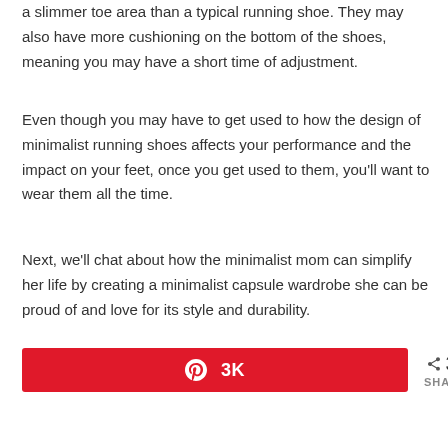a slimmer toe area than a typical running shoe. They may also have more cushioning on the bottom of the shoes, meaning you may have a short time of adjustment.
Even though you may have to get used to how the design of minimalist running shoes affects your performance and the impact on your feet, once you get used to them, you'll want to wear them all the time.
Next, we'll chat about how the minimalist mom can simplify her life by creating a minimalist capsule wardrobe she can be proud of and love for its style and durability.
[Figure (other): Pinterest share button showing 3K saves and a share icon showing 3K SHARES]